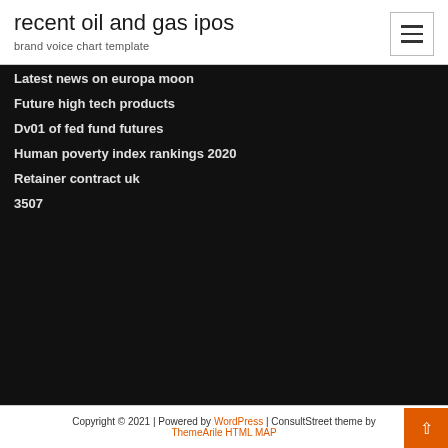recent oil and gas ipos
brand voice chart template
Latest news on europa moon
Future high tech products
Dv01 of fed fund futures
Human poverty index rankings 2020
Retainer contract uk
3507
Copyright © 2021 | Powered by WordPress | ConsultStreet theme by ThemeArile HTML MAP